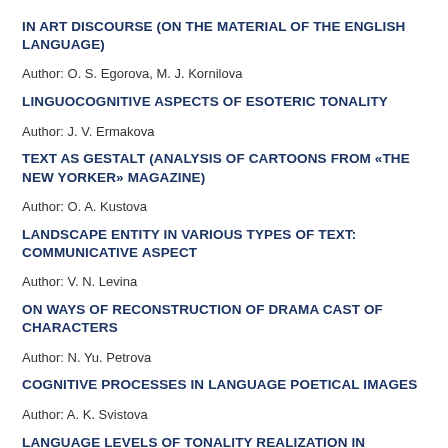IN ART DISCOURSE (ON THE MATERIAL OF THE ENGLISH LANGUAGE)
Author:  O. S. Egorova, M. J. Kornilova
LINGUOCOGNITIVE ASPECTS OF ESOTERIC TONALITY
Author:  J. V. Ermakova
TEXT AS GESTALT (ANALYSIS OF CARTOONS FROM «THE NEW YORKER» MAGAZINE)
Author:  O. A. Kustova
LANDSCAPE ENTITY IN VARIOUS TYPES OF TEXT: COMMUNICATIVE ASPECT
Author:  V. N. Levina
ON WAYS OF RECONSTRUCTION OF DRAMA CAST OF CHARACTERS
Author:  N. Yu. Petrova
COGNITIVE PROCESSES IN LANGUAGE POETICAL IMAGES
Author:  A. K. Svistova
LANGUAGE LEVELS OF TONALITY REALIZATION IN DISCOURSE
Author:  S. E. Tupikova
THE QUEST MYTH IN THE EARLY POEMS OF W. B. YEATS: